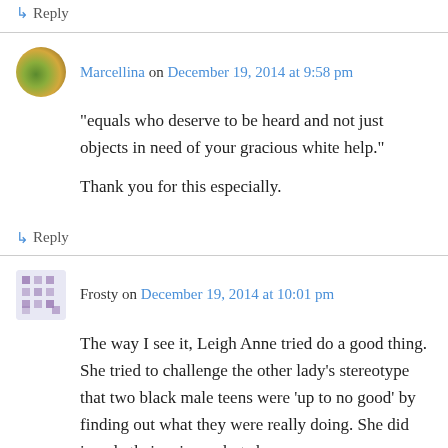↳ Reply
Marcellina on December 19, 2014 at 9:58 pm
“equals who deserve to be heard and not just objects in need of your gracious white help.”

Thank you for this especially.
↳ Reply
Frosty on December 19, 2014 at 10:01 pm
The way I see it, Leigh Anne tried do a good thing. She tried to challenge the other lady’s stereotype that two black male teens were ‘up to no good’ by finding out what they were really doing. She did invade their privacy, but she gave